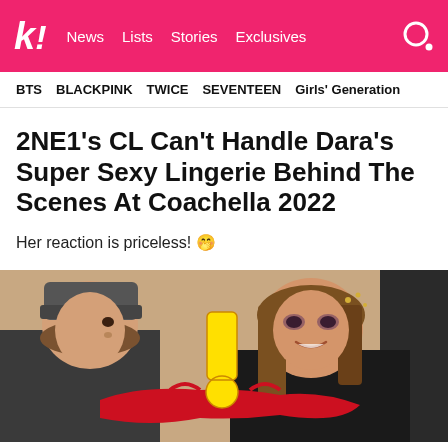k! News Lists Stories Exclusives
BTS  BLACKPINK  TWICE  SEVENTEEN  Girls' Generation
2NE1's CL Can't Handle Dara's Super Sexy Lingerie Behind The Scenes At Coachella 2022
Her reaction is priceless! 🤭
[Figure (photo): Photo of two women, one in a dark beanie and one with long hair accessorized, holding red lingerie, with a yellow exclamation mark emoji overlaid in the center]